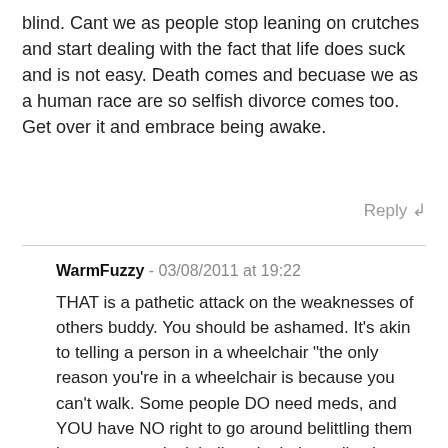blind. Cant we as people stop leaning on crutches and start dealing with the fact that life does suck and is not easy. Death comes and becuase we as a human race are so selfish divorce comes too. Get over it and embrace being awake.
Reply ↲
WarmFuzzy - 03/08/2011 at 19:22
THAT is a pathetic attack on the weaknesses of others buddy. You should be ashamed. It's akin to telling a person in a wheelchair "the only reason you're in a wheelchair is because you can't walk. Some people DO need meds, and YOU have NO right to go around belittling them because you don't believe in their medications. Disgusting. YOU are the one who is "blind" with your own ignorance. Selfish in your lack of willingness to see another person's point of view. "Get over" your bigotry.